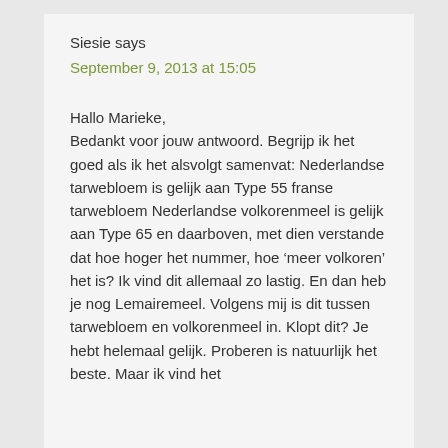Siesie says
September 9, 2013 at 15:05
Hallo Marieke,
Bedankt voor jouw antwoord. Begrijp ik het goed als ik het alsvolgt samenvat: Nederlandse tarwebloem is gelijk aan Type 55 franse tarwebloem Nederlandse volkorenmeel is gelijk aan Type 65 en daarboven, met dien verstande dat hoe hoger het nummer, hoe ‘meer volkoren’ het is? Ik vind dit allemaal zo lastig. En dan heb je nog Lemairemeel. Volgens mij is dit tussen tarwebloem en volkorenmeel in. Klopt dit? Je hebt helemaal gelijk. Proberen is natuurlijk het beste. Maar ik vind het